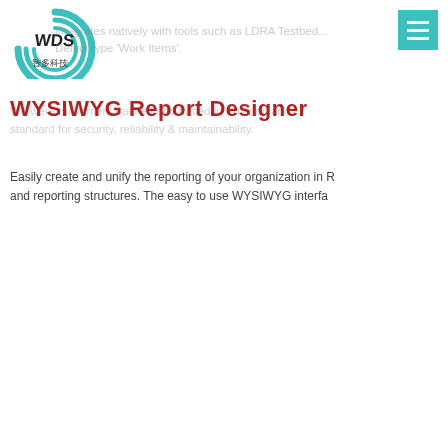[Figure (logo): WDS company logo with circular design and Chinese characters 智多科技]
integrates natively with tools such as LDRA ... Defect type 'Work Items'.
WYSIWYG Report Designer
We were movement tracked and traced in Polarion and standard for security, reliability & maintainability.
Easily create and unify the reporting of your organization in R and reporting structures. The easy to use WYSIWYG interfa